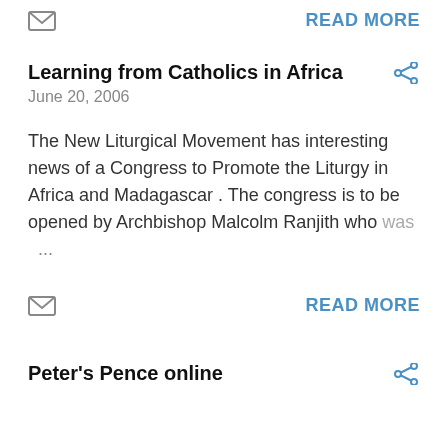READ MORE
Learning from Catholics in Africa
June 20, 2006
The New Liturgical Movement has interesting news of a Congress to Promote the Liturgy in Africa and Madagascar . The congress is to be opened by Archbishop Malcolm Ranjith who was ...
READ MORE
Peter's Pence online